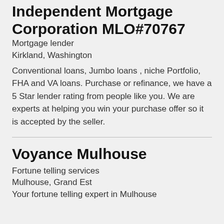Independent Mortgage Corporation MLO#70767
Mortgage lender
Kirkland, Washington
Conventional loans, Jumbo loans , niche Portfolio, FHA and VA loans. Purchase or refinance, we have a 5 Star lender rating from people like you. We are experts at helping you win your purchase offer so it is accepted by the seller.
Voyance Mulhouse
Fortune telling services
Mulhouse, Grand Est
Your fortune telling expert in Mulhouse